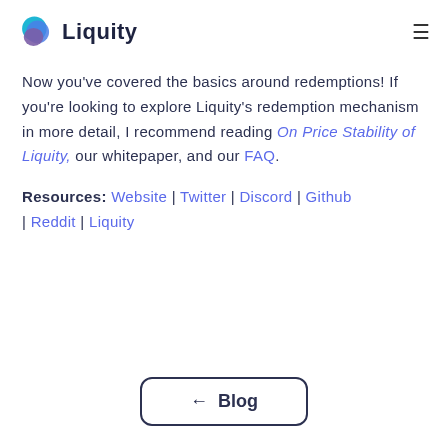Liquity
Now you've covered the basics around redemptions! If you're looking to explore Liquity's redemption mechanism in more detail, I recommend reading On Price Stability of Liquity, our whitepaper, and our FAQ.
Resources: Website | Twitter | Discord | Github | Reddit | Liquity